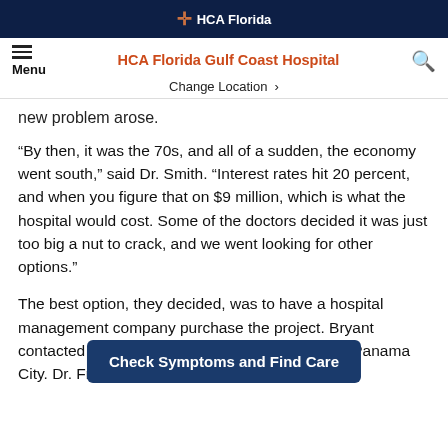HCA Florida
HCA Florida Gulf Coast Hospital
new problem arose.
“By then, it was the 70s, and all of a sudden, the economy went south,” said Dr. Smith. “Interest rates hit 20 percent, and when you figure that on $9 million, which is what the hospital would cost. Some of the doctors decided it was just too big a nut to crack, and we went looking for other options.”
The best option, they decided, was to have a hospital management company purchase the project. Bryant contacted HCA H... st, Jr. and invited him to Panama City. Dr. Frist said he
Check Symptoms and Find Care